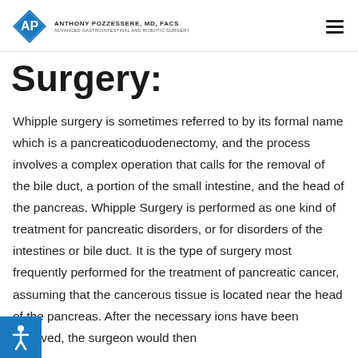[Figure (logo): Anthony Pozzessere MD FACS logo with diamond shape containing AP initials, teal/dark blue color, with text 'ANTHONY POZZESSERE, MD, FACS' and 'ADVANCED GASTROINTESTINAL AND ROBOTIC SURGERY']
Surgery:
Whipple surgery is sometimes referred to by its formal name which is a pancreaticoduodenectomy, and the process involves a complex operation that calls for the removal of the bile duct, a portion of the small intestine, and the head of the pancreas. Whipple Surgery is performed as one kind of treatment for pancreatic disorders, or for disorders of the intestines or bile duct. It is the type of surgery most frequently performed for the treatment of pancreatic cancer, assuming that the cancerous tissue is located near the head of the pancreas. After the necessary ions have been removed, the surgeon would then